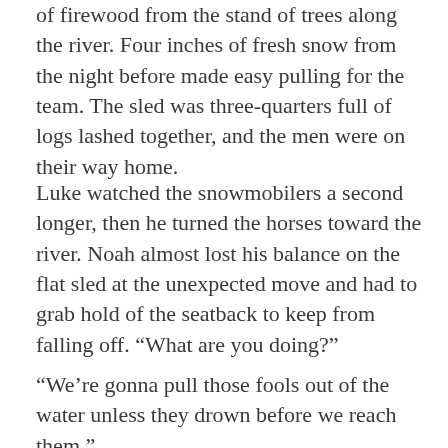of firewood from the stand of trees along the river. Four inches of fresh snow from the night before made easy pulling for the team. The sled was three-quarters full of logs lashed together, and the men were on their way home.
Luke watched the snowmobilers a second longer, then he turned the horses toward the river. Noah almost lost his balance on the flat sled at the unexpected move and had to grab hold of the seatback to keep from falling off. “What are you doing?”
“We’re gonna pull those fools out of the water unless they drown before we reach them.”